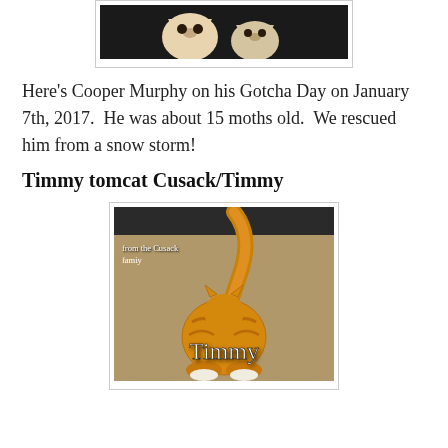[Figure (photo): Photo of cats on dark background, partially visible at top of page]
Here's Cooper Murphy on his Gotcha Day on January 7th, 2017.  He was about 15 moths old.  We rescued him from a snow storm!
Timmy tomcat Cusack/Timmy
[Figure (photo): Photo of an orange tabby cat named Timmy, viewed from behind showing tail, with text 'from the Cusack famiy' and 'Timmy' overlaid]